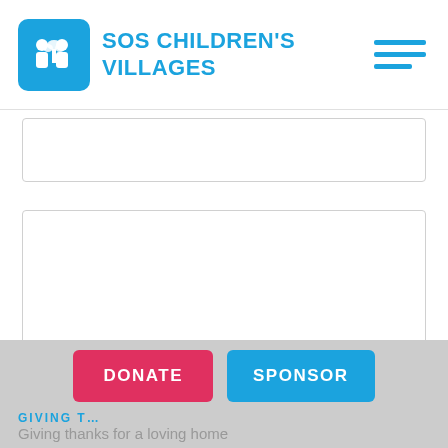SOS CHILDREN'S VILLAGES
[Figure (screenshot): Empty white content placeholder box 1]
[Figure (screenshot): Empty white content placeholder box 2 (large)]
GIVING T... | Giving thanks for a loving home
[Figure (other): Donate and Sponsor buttons in bottom bar]